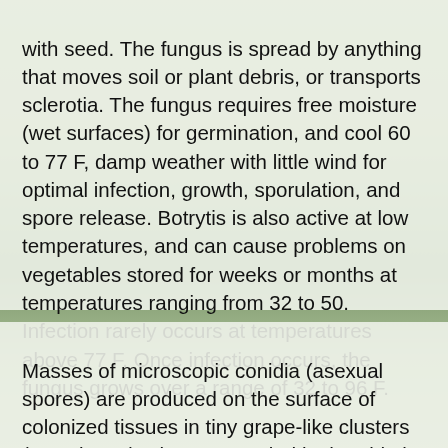with seed. The fungus is spread by anything that moves soil or plant debris, or transports sclerotia. The fungus requires free moisture (wet surfaces) for germination, and cool 60 to 77 F, damp weather with little wind for optimal infection, growth, sporulation, and spore release. Botrytis is also active at low temperatures, and can cause problems on vegetables stored for weeks or months at temperatures ranging from 32 to 50. Infection rarely occurs at temperatures above 77 F. Once infection occurs, the fungus grows over a range of 32 to 96 F.
[Figure (photo): Agricultural field background visible between two text panels]
Masses of microscopic conidia (asexual spores) are produced on the surface of colonized tissues in tiny grape-like clusters (see picture). They are carried by humid air currents, splashing water, tools, and clothing, to healthy plants where they initiate new infections. Conidia usually do not penetrate living tissue directly, but rather infect through wounds, or by first colonizing dead tissues (old flower petals, dying foliage, etc.) then growing into